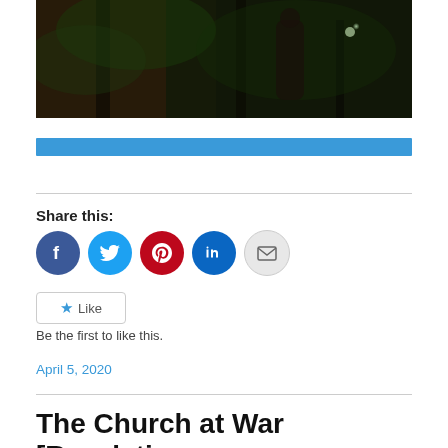[Figure (photo): Dark forest scene photograph, cropped at top showing trees and shadowy outdoor setting]
Share this:
[Figure (infographic): Social sharing icons: Facebook (blue circle), Twitter (blue circle), Pinterest (red circle), LinkedIn (dark blue circle), Email (gray circle)]
Like
Be the first to like this.
April 5, 2020
The Church at War [Revelation